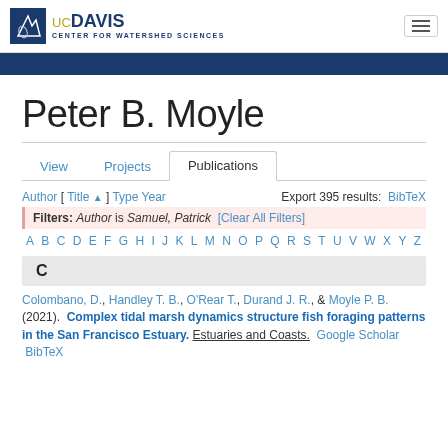UC Davis Center for Watershed Sciences
Peter B. Moyle
View  Projects  Publications
Author [ Title▲ ] Type Year   Export 395 results: BibTeX
Filters: Author is Samuel, Patrick [Clear All Filters]
A B C D E F G H I J K L M N O P Q R S T U V W X Y Z
C
Colombano, D., Handley T. B., O'Rear T., Durand J. R., & Moyle P. B. (2021).  Complex tidal marsh dynamics structure fish foraging patterns in the San Francisco Estuary. Estuaries and Coasts.  Google Scholar  BibTeX